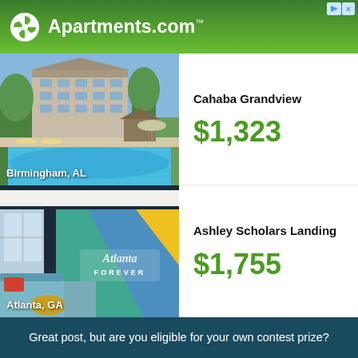Apartments.com
Cahaba Grandview
$1,323
[Figure (photo): Apartment complex with swimming pool, Birmingham, AL]
Birmingham, AL
Ashley Scholars Landing
$1,755
[Figure (photo): Modern apartment lounge with Atlanta Forever mural, Atlanta, GA]
Atlanta, GA
Great post, but are you eligible for your own contest prize?